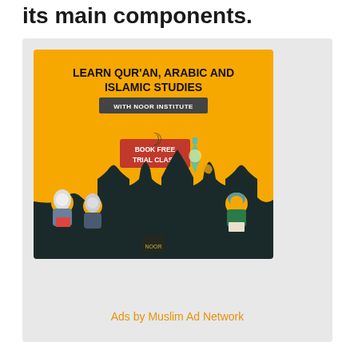its main components.
[Figure (illustration): Advertisement for Noor Institute: orange background with text 'LEARN QUR'AN, ARABIC AND ISLAMIC STUDIES WITH NOOR INSTITUTE', a red 'BOOK FREE TRIAL CLASS' button, illustrated figures of students reading, mosque silhouette at the bottom.]
Ads by Muslim Ad Network